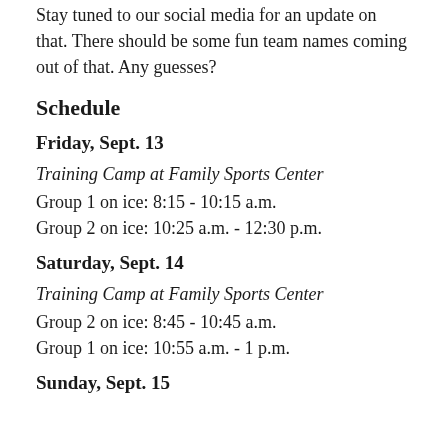Stay tuned to our social media for an update on that. There should be some fun team names coming out of that. Any guesses?
Schedule
Friday, Sept. 13
Training Camp at Family Sports Center
Group 1 on ice: 8:15 - 10:15 a.m.
Group 2 on ice: 10:25 a.m. - 12:30 p.m.
Saturday, Sept. 14
Training Camp at Family Sports Center
Group 2 on ice: 8:45 - 10:45 a.m.
Group 1 on ice: 10:55 a.m. - 1 p.m.
Sunday, Sept. 15